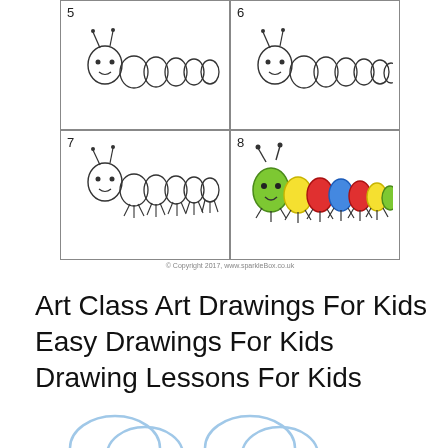[Figure (illustration): Step-by-step caterpillar drawing tutorial panels 5, 6, 7, 8. Steps 5-7 show outline drawings of caterpillars with increasing body segments and legs. Step 8 shows a colorful completed caterpillar with green, yellow, red, and blue body segments.]
© Copyright 2017, www.sparkleBox.co.uk
Art Class Art Drawings For Kids Easy Drawings For Kids Drawing Lessons For Kids
[Figure (illustration): Partial illustration at the bottom of the page showing light blue sketched animal shapes (partially cropped).]